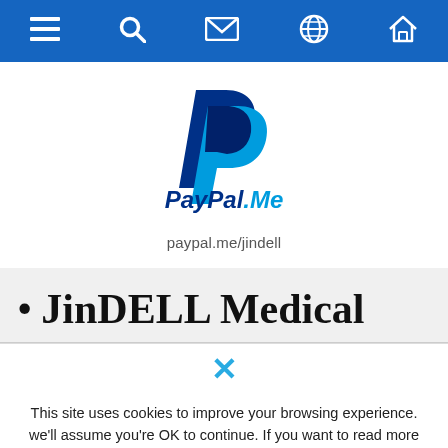[Figure (screenshot): Mobile navigation bar with menu, search, mail, globe, and home icons on blue background]
[Figure (logo): PayPal.Me logo with two overlapping P shapes in dark blue and light blue, and text 'PayPal.Me' in bold italic]
paypal.me/jindell
JinDELL Medical
This site uses cookies to improve your browsing experience. we'll assume you're OK to continue. If you want to read more about this, please chick PRIVACY thank you.